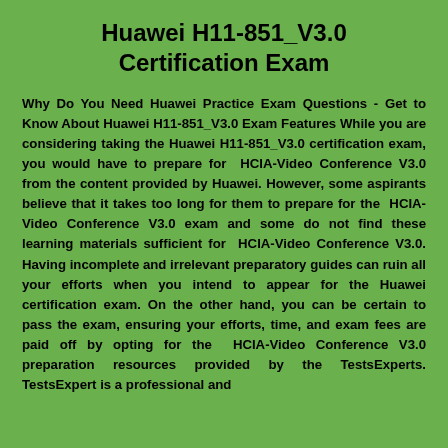Huawei H11-851_V3.0 Certification Exam
Why Do You Need Huawei Practice Exam Questions - Get to Know About Huawei H11-851_V3.0 Exam Features While you are considering taking the Huawei H11-851_V3.0 certification exam, you would have to prepare for HCIA-Video Conference V3.0 from the content provided by Huawei. However, some aspirants believe that it takes too long for them to prepare for the HCIA-Video Conference V3.0 exam and some do not find these learning materials sufficient for HCIA-Video Conference V3.0. Having incomplete and irrelevant preparatory guides can ruin all your efforts when you intend to appear for the Huawei certification exam. On the other hand, you can be certain to pass the exam, ensuring your efforts, time, and exam fees are paid off by opting for the HCIA-Video Conference V3.0 preparation resources provided by the TestsExperts. TestsExpert is a professional and